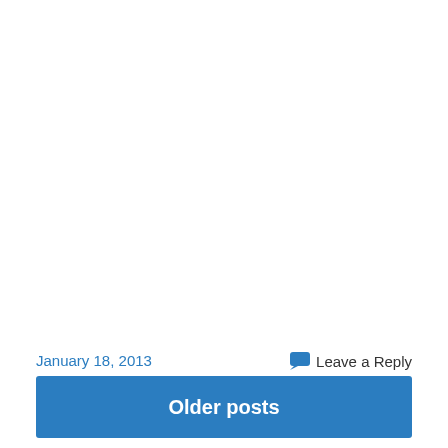January 18, 2013
Leave a Reply
Older posts